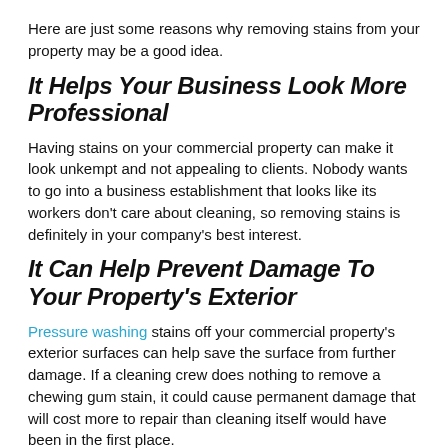Here are just some reasons why removing stains from your property may be a good idea.
It Helps Your Business Look More Professional
Having stains on your commercial property can make it look unkempt and not appealing to clients. Nobody wants to go into a business establishment that looks like its workers don't care about cleaning, so removing stains is definitely in your company's best interest.
It Can Help Prevent Damage To Your Property's Exterior
Pressure washing stains off your commercial property's exterior surfaces can help save the surface from further damage. If a cleaning crew does nothing to remove a chewing gum stain, it could cause permanent damage that will cost more to repair than cleaning itself would have been in the first place.